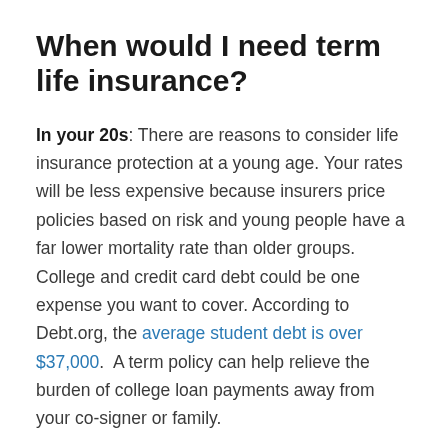When would I need term life insurance?
In your 20s: There are reasons to consider life insurance protection at a young age. Your rates will be less expensive because insurers price policies based on risk and young people have a far lower mortality rate than older groups. College and credit card debt could be one expense you want to cover. According to Debt.org, the average student debt is over $37,000.  A term policy can help relieve the burden of college loan payments away from your co-signer or family.
In your 30s and 40s: A new house, spouse, and growing